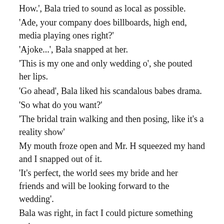How.',  Bala tried to sound as local as possible.
'Ade, your company does billboards, high end, media playing ones right?'
'Ajoke...', Bala snapped at her.
'This is my one and only wedding o', she pouted her lips.
'Go ahead', Bala liked his scandalous babes drama.
'So what do you want?'
'The bridal train walking and then posing, like it's a reality show'
My mouth froze open and Mr. H squeezed my hand and I snapped out of it.
'It's perfect, the world sees my bride and her friends and will be looking forward to the wedding'.
Bala was right, in fact I could picture something unique.
'It should be, on one of your trawler's, the oldest... The contrast of a new bride and fresh faces on an old trawler.. Classic'
I listened to myself and could picture the tagline on the media and smiled.